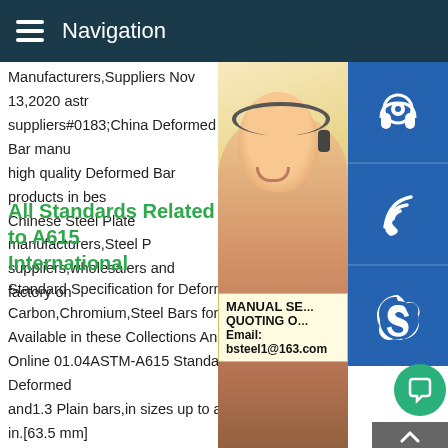Navigation
Manufacturers,Suppliers Nov 13,2020 astr suppliers#0183;China Deformed Bar manu high quality Deformed Bar products in bes Chinese Steel Plate manufacturers,Steel P suppliers,wholesalers and factory on
All Standards Related to A615 International
Standard Specification for Deformed and P Carbon,Chromium,Steel Bars for Concrete Available in these Collections Annual Book Online 01.04ASTM-A615 Standard Specification for Deformed and1.3 Plain bars,in sizes up to and including 2 1 / 2 in.[63.5 mm] in diameter in coils or cut lengths,when ordered shall be furnis under this specification in Grade 40 [280],Grade 60 [420],Grac [520],Grade 80 [550],and Grade 100 [690].For ductility proper (elongation and bending) at a provision of the are approx all
[Figure (photo): Customer service representative woman wearing headset, with blue contact icons (headset, phone, Skype) on the right sidebar, and a manual service quoting overlay with email bsteel1@163.com]